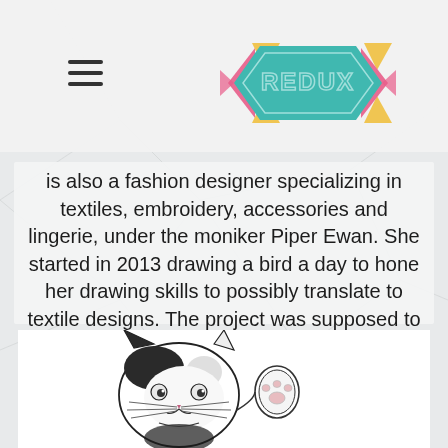[Figure (logo): Redux logo — geometric hexagonal shape in teal, pink, and yellow with 'REDUX' text in teal outlined letters]
is also a fashion designer specializing in textiles, embroidery, accessories and lingerie, under the moniker Piper Ewan. She started in 2013 drawing a bird a day to hone her drawing skills to possibly translate to textile designs. The project was supposed to last a year, but years later she finds herself still drawing.
[Figure (illustration): Pencil/ink illustration of a cat with black and white markings, looking forward with one paw raised showing the paw pad]